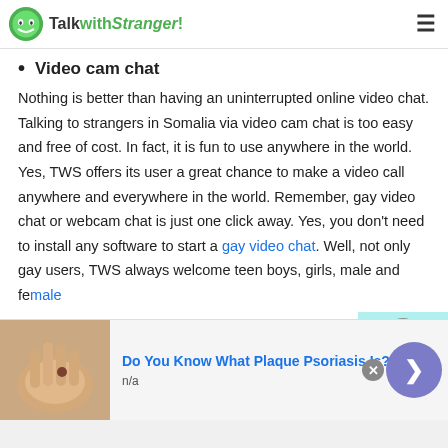TalkwithStranger!
Video cam chat
Nothing is better than having an uninterrupted online video chat. Talking to strangers in Somalia via video cam chat is too easy and free of cost. In fact, it is fun to use anywhere in the world. Yes, TWS offers its user a great chance to make a video call anywhere and everywhere in the world. Remember, gay video chat or webcam chat is just one click away. Yes, you don't need to install any software to start a gay video chat. Well, not only gay users, TWS always welcome teen boys, girls, male and female
[Figure (other): Advertisement banner: skin condition image with headline 'Do You Know What Plaque Psoriasis Is?' and n/a subtext, with arrow button]